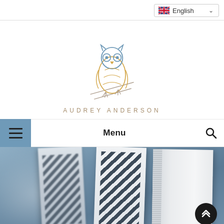English (language selector)
[Figure (logo): Audrey Anderson owl logo — geometric line-art owl in blue and golden/orange tones on diagonal perch lines, with text AUDREY ANDERSON below in spaced taupe caps]
AUDREY ANDERSON
Menu (navigation bar with hamburger icon and search icon)
[Figure (photo): Blurred hero photograph of books standing upright, showing covers with geometric dark patterns, on a blue-grey background]